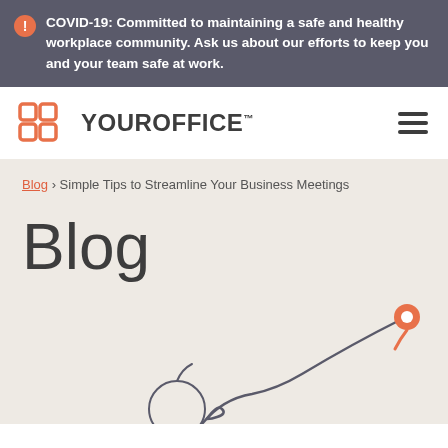COVID-19: Committed to maintaining a safe and healthy workplace community. Ask us about our efforts to keep you and your team safe at work.
[Figure (logo): YourOffice logo with orange grid icon and bold text YOUROFFICE with TM mark]
Blog › Simple Tips to Streamline Your Business Meetings
Blog
[Figure (illustration): Decorative illustration with orange map pin marker and curling gray path/line at bottom of page]